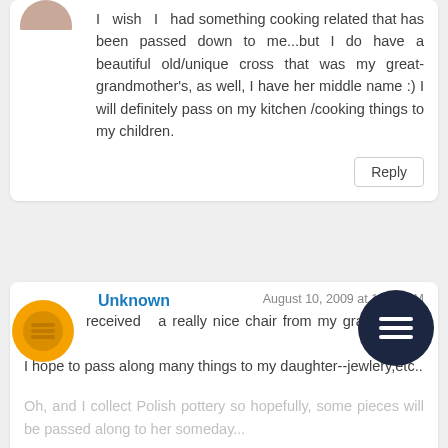I wish I had something cooking related that has been passed down to me...but I do have a beautiful old/unique cross that was my great-grandmother's, as well, I have her middle name :) I will definitely pass on my kitchen /cooking things to my children.
Reply
Unknown
August 10, 2009 at 11:46 AM
I just received a really nice chair from my grandmother house.
I hope to pass along many things to my daughter--jewlery,etc..
Oh, and I collect Polish pottery so hopefully, some pieces will be passed along to her someday...